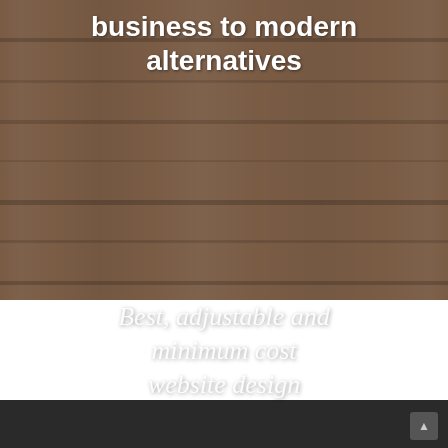[Figure (photo): Wooden plank texture background, horizontal planks in brown/tan tones]
business to modern alternatives
Best, adjustable and minimum cost website design